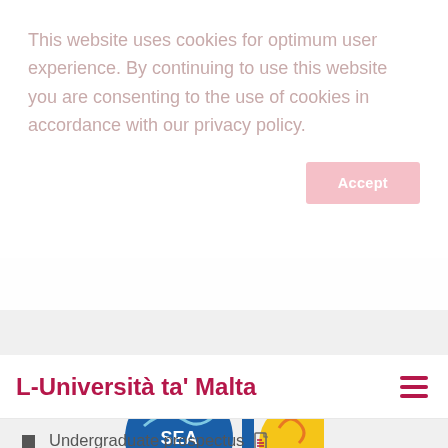This website uses cookies for optimum user experience. By continuing to use this website you are consenting to the use of cookies in accordance with our privacy policy.
Accept
L-Università ta' Malta
Undergraduate prospectus
Postgraduate prospectus
[Figure (logo): SEA and other logos at the bottom of the page]